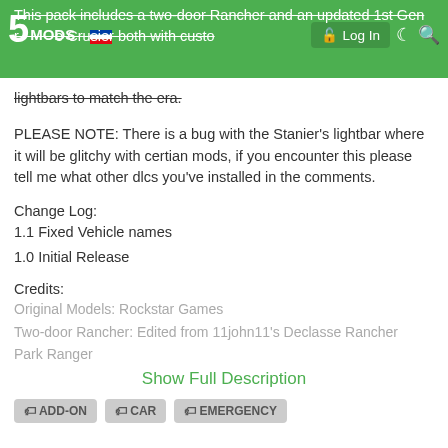5MODS | Log In
This pack includes a two-door Rancher and an updated 1st Gen Cruiser both with custom lightbars to match the era.
PLEASE NOTE: There is a bug with the Stanier's lightbar where it will be glitchy with certian mods, if you encounter this please tell me what other dlcs you've installed in the comments.
Change Log:
1.1 Fixed Vehicle names
1.0 Initial Release
Credits:
Original Models: Rockstar Games
Two-door Rancher: Edited from 11john11's Declasse Rancher Park Ranger
Show Full Description
ADD-ON  CAR  EMERGENCY
First Uploaded: 18. jul 2018
Last Updated: 27. jul 2018